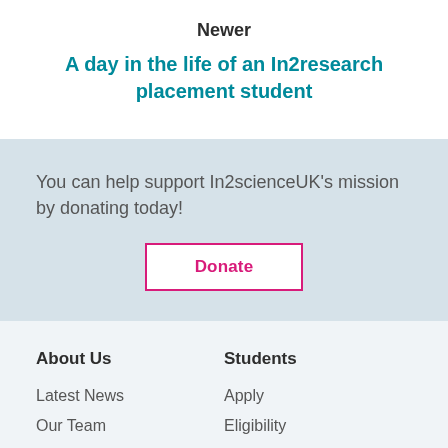Newer
A day in the life of an In2research placement student
You can help support In2scienceUK's mission by donating today!
Donate
About Us
Students
Latest News
Our Team
Our Impact
Apply
Eligibility
FAQs